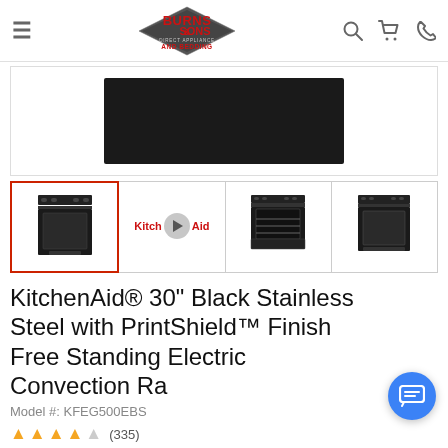Burns & Sons Direct Appliance and Bedding
[Figure (photo): Main product image area showing a black stainless steel range cooktop view]
[Figure (photo): Thumbnail 1: Front view of KitchenAid black stainless electric range (selected)]
[Figure (photo): Thumbnail 2: KitchenAid video play button thumbnail]
[Figure (photo): Thumbnail 3: Open oven door view of KitchenAid black stainless electric range]
[Figure (photo): Thumbnail 4: Side/angle view of KitchenAid black stainless electric range]
KitchenAid® 30" Black Stainless Steel with PrintShield™ Finish Free Standing Electric Convection Range
Model #: KFEG500EBS
4.0 stars (335)